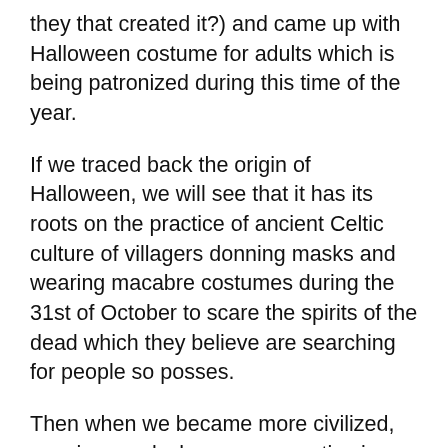they that created it?) and came up with Halloween costume for adults which is being patronized during this time of the year.
If we traced back the origin of Halloween, we will see that it has its roots on the practice of ancient Celtic culture of villagers donning masks and wearing macabre costumes during the 31st of October to scare the spirits of the dead which they believe are searching for people so posses.
Then when we became more civilized, wearing masks became a practice in masquerade balls held in the kings' and queens' courts. Hiding their appearances with often intricate, feather masks seem to be a noble tradition back then.
Then we move towards the modern times. Determining when exactly the practice of adults wearing Halloween costumes began may not be